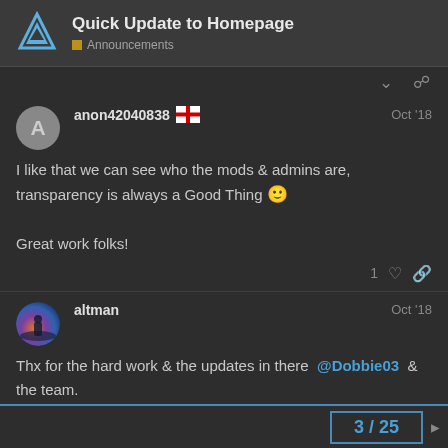Quick Update to Homepage — Announcements
anon42040838 🏴󠁧󠁢󠁥󠁮󠁧󠁿 Oct '18
I like that we can see who the mods & admins are, transparency is always a Good Thing 🙂

Great work folks!
altman Oct '18
Thx for the hard work & the updates in there @Dobbie03 & the team.
3 / 25